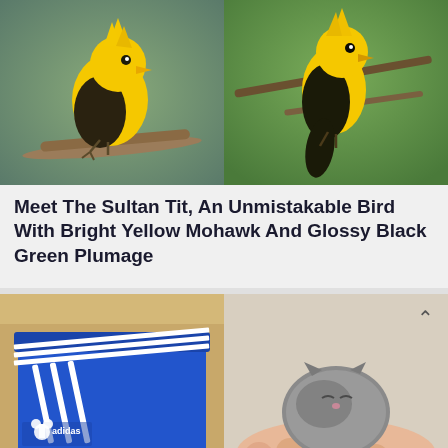[Figure (photo): Two yellow Sultan Tit birds with bright yellow mohawk crests and glossy black-green plumage perched on branches]
Meet The Sultan Tit, An Unmistakable Bird With Bright Yellow Mohawk And Glossy Black Green Plumage
[Figure (photo): Left: Blue Adidas shoebox with white three stripes and logo. Right: A tiny newborn kitten curled up in a person's hand.]
People Open Shoebox And Discover A Tiny Kitten Abandoned Inside